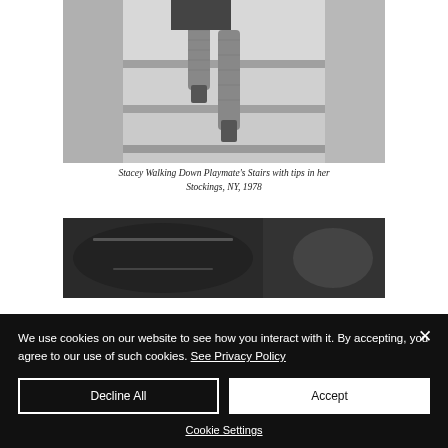[Figure (photo): Black and white photograph showing legs of a woman in fishnet stockings and high heels walking down stairs]
Stacey Walking Down Playmate's Stairs with tips in her Stockings, NY, 1978
[Figure (photo): Black and white photograph, partial view, appears to show a car interior or dark scene]
We use cookies on our website to see how you interact with it. By accepting, you agree to our use of such cookies. See Privacy Policy
Decline All
Accept
Cookie Settings